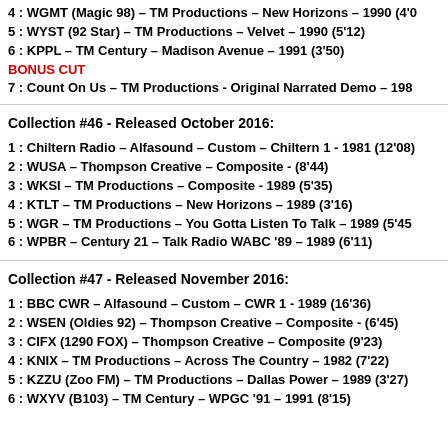4 : WGMT (Magic 98) – TM Productions – New Horizons – 1990 (4'0…
5 : WYST (92 Star) – TM Productions – Velvet – 1990 (5'12)
6 : KPPL – TM Century – Madison Avenue – 1991 (3'50)
BONUS CUT
7 : Count On Us – TM Productions - Original Narrated Demo – 198…
Collection #46 - Released October 2016:
1 : Chiltern Radio – Alfasound – Custom – Chiltern 1 - 1981 (12'08)
2 : WUSA – Thompson Creative – Composite - (8'44)
3 : WKSI – TM Productions – Composite - 1989 (5'35)
4 : KTLT – TM Productions – New Horizons – 1989 (3'16)
5 : WGR – TM Productions – You Gotta Listen To Talk – 1989 (5'45…
6 : WPBR – Century 21 – Talk Radio WABC '89 – 1989 (6'11)
Collection #47 - Released November 2016:
1 : BBC CWR – Alfasound – Custom – CWR 1 - 1989 (16'36)
2 : WSEN (Oldies 92) – Thompson Creative – Composite - (6'45)
3 : CIFX (1290 FOX) – Thompson Creative – Composite (9'23)
4 : KNIX – TM Productions – Across The Country – 1982 (7'22)
5 : KZZU (Zoo FM) – TM Productions – Dallas Power – 1989 (3'27)
6 : WXYV (B103) – TM Century – WPGC '91 – 1991 (8'15)